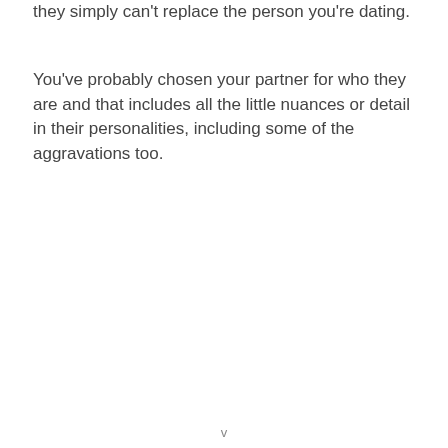they simply can't replace the person you're dating.
You've probably chosen your partner for who they are and that includes all the little nuances or detail in their personalities, including some of the aggravations too.
v